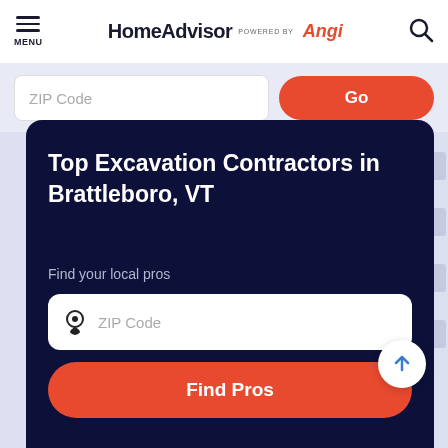MENU | HomeAdvisor POWERED BY Angi
[Figure (screenshot): ZIP Code input bar with Go button (partially visible at top)]
Top Excavation Contractors in Brattleboro, VT
Find your local pros
[Figure (screenshot): ZIP Code input field with location pin icon]
[Figure (screenshot): Find Pros orange button]